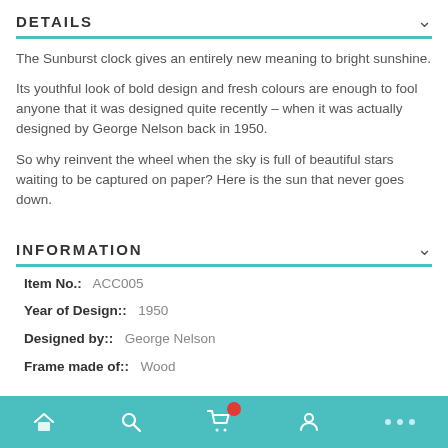DETAILS
The Sunburst clock gives an entirely new meaning to bright sunshine.
Its youthful look of bold design and fresh colours are enough to fool anyone that it was designed quite recently – when it was actually designed by George Nelson back in 1950.
So why reinvent the wheel when the sky is full of beautiful stars waiting to be captured on paper? Here is the sun that never goes down.
INFORMATION
Item No.:  ACC005
Year of Design::  1950
Designed by::  George Nelson
Frame made of::  Wood
Navigation bar with home, search, cart, account, more icons